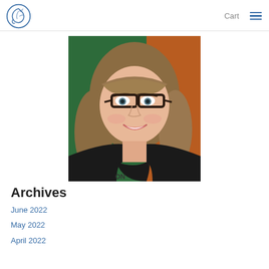Cart
[Figure (photo): A smiling woman with shoulder-length brown hair and bangs, wearing black-rimmed glasses and a black t-shirt, photographed in front of a green and orange background.]
Archives
June 2022
May 2022
April 2022